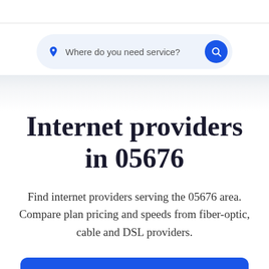[Figure (screenshot): Search bar with pin icon and text 'Where do you need service?' and a blue circular search button]
Internet providers in 05676
Find internet providers serving the 05676 area. Compare plan pricing and speeds from fiber-optic, cable and DSL providers.
Shop local providers